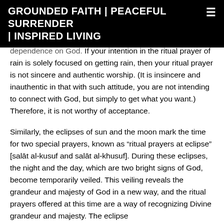GROUNDED FAITH | PEACEFUL SURRENDER | INSPIRED LIVING
dependence on God. If your intention in the ritual prayer of rain is solely focused on getting rain, then your ritual prayer is not sincere and authentic worship. (It is insincere and inauthentic in that with such attitude, you are not intending to connect with God, but simply to get what you want.) Therefore, it is not worthy of acceptance.
Similarly, the eclipses of sun and the moon mark the time for two special prayers, known as “ritual prayers at eclipse” [salāt al-kusuf and salāt al-khusuf]. During these eclipses, the night and the day, which are two bright signs of God, become temporarily veiled. This veiling reveals the grandeur and majesty of God in a new way, and the ritual prayers offered at this time are a way of recognizing Divine grandeur and majesty. The eclipse